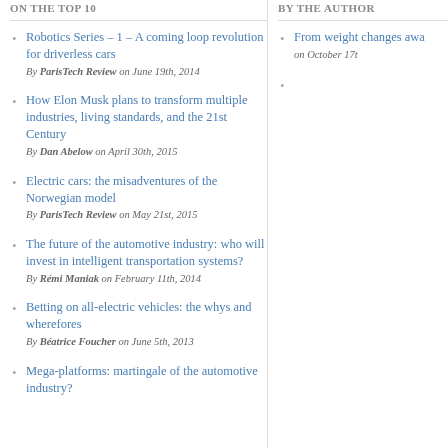ON THE TOP 10
BY THE AUTHOR
Robotics Series – 1 – A coming loop revolution for driverless cars
By ParisTech Review on June 19th, 2014
How Elon Musk plans to transform multiple industries, living standards, and the 21st Century
By Dan Abelow on April 30th, 2015
Electric cars: the misadventures of the Norwegian model
By ParisTech Review on May 21st, 2015
The future of the automotive industry: who will invest in intelligent transportation systems?
By Rémi Maniak on February 11th, 2014
Betting on all-electric vehicles: the whys and wherefores
By Béatrice Foucher on June 5th, 2013
Mega-platforms: martingale of the automotive industry?
From weight changes awa...
on October 17t...